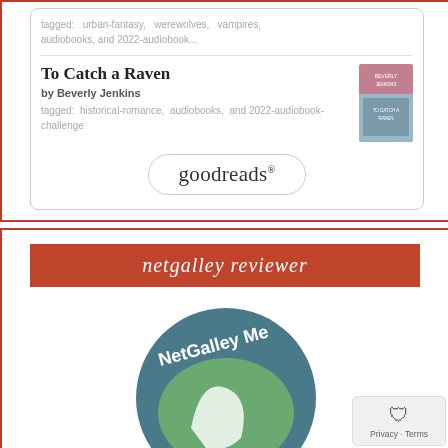tagged: urban-fantasy, werewolves, vampires, audiobooks, and 2022-audiobook...
To Catch a Raven
by Beverly Jenkins
tagged: historical-romance, audiobooks, and 2022-audiobook-challenge
[Figure (logo): Goodreads logo button with rounded rectangle border]
netgalley reviewer
[Figure (logo): NetGalley Member reviewer circular badge logo with teal and green colors]